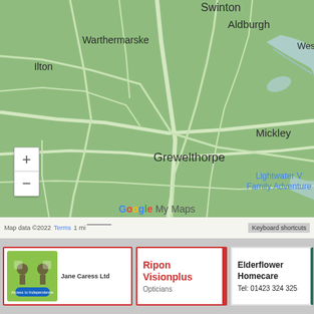[Figure (map): Google My Maps screenshot showing a rural area in North Yorkshire, England. A blue location pin marks Kirkby Malzeard. Visible place names include Swinton, Binsoe, Aldburgh, West Tan, Warthermarske, Ilton, Mickley, Grewelthorpe, Lightwater Valley Family Adventure, Kirkby Malzeard, Azerley, Galphay. Zoom controls (+/-) visible at bottom left. Google My Maps branding at bottom center. Map data ©2022, Terms, 1 mi scale bar, Keyboard shortcuts label visible.]
[Figure (logo): Jane Caress Ltd logo card with green background showing puzzle-piece tree figure, company name 'Jane Caress Ltd', and blue oval badge reading 'Access to Independence'.]
[Figure (logo): Ripon Visionplus business card showing company name in red and 'Opticians' in grey below.]
[Figure (logo): Elderflower Homecare business card showing name and phone number Tel: 01423 324 325.]